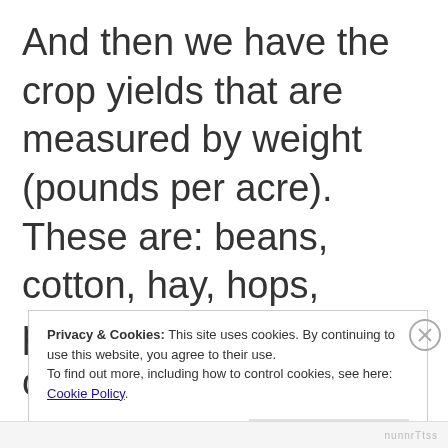And then we have the crop yields that are measured by weight (pounds per acre).  These are: beans, cotton, hay, hops, peanuts, peppermint oil, rice, spearmint oil, sugarbeets, and tobacco.  These also show the same yield growth since about 1930 behavior.
Privacy & Cookies: This site uses cookies. By continuing to use this website, you agree to their use. To find out more, including how to control cookies, see here: Cookie Policy